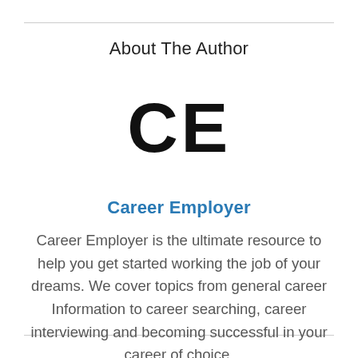About The Author
[Figure (logo): Large bold letters 'CE' representing Career Employer logo]
Career Employer
Career Employer is the ultimate resource to help you get started working the job of your dreams. We cover topics from general career Information to career searching, career interviewing and becoming successful in your career of choice.